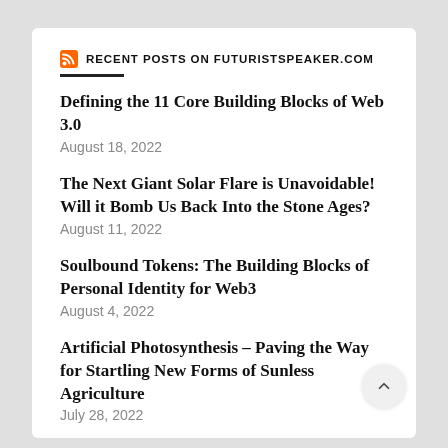RECENT POSTS ON FUTURISTSPEAKER.COM
Defining the 11 Core Building Blocks of Web 3.0
August 18, 2022
The Next Giant Solar Flare is Unavoidable! Will it Bomb Us Back Into the Stone Ages?
August 11, 2022
Soulbound Tokens: The Building Blocks of Personal Identity for Web3
August 4, 2022
Artificial Photosynthesis – Paving the Way for Startling New Forms of Sunless Agriculture
July 28, 2022
Thorium Reactors – The Future of Energy  July 21, 2022